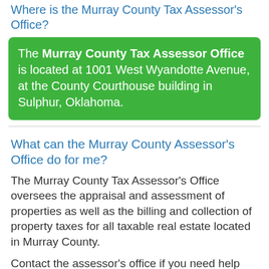Where is the Murray County Tax Assessor's Office?
The Murray County Tax Assessor Office is located at 1001 West Wyandotte Avenue, at the County Courthouse building in Sulphur, Oklahoma.
What can the Murray County Assessor's Office do for me?
The Murray County Tax Assessor's Office oversees the appraisal and assessment of properties as well as the billing and collection of property taxes for all taxable real estate located in Murray County.
Contact the assessor's office if you need help with paying your property taxes, applying for a homestead exemption or other tax exemption, reporting upgrades to your home, appealing